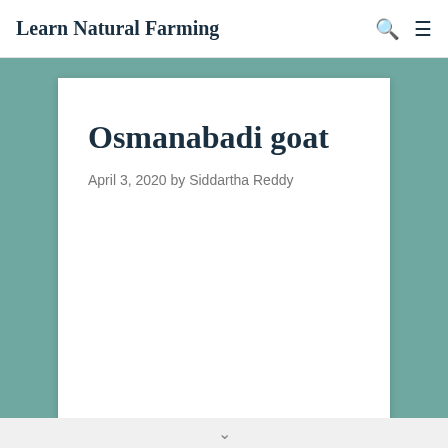Learn Natural Farming
Osmanabadi goat
April 3, 2020 by Siddartha Reddy